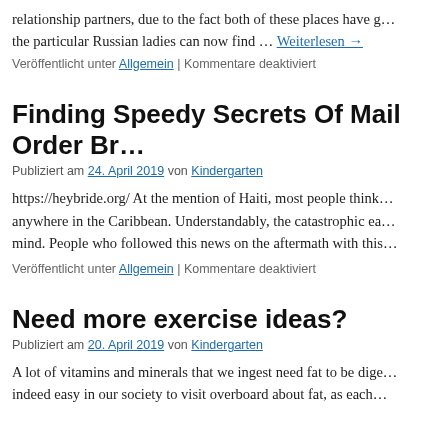relationship partners, due to the fact both of these places have g… the particular Russian ladies can now find … Weiterlesen →
Veröffentlicht unter Allgemein | Kommentare deaktiviert
Finding Speedy Secrets Of Mail Order Br…
Publiziert am 24. April 2019 von Kindergarten
https://heybride.org/ At the mention of Haiti, most people think… anywhere in the Caribbean. Understandably, the catastrophic ea… mind. People who followed this news on the aftermath with this…
Veröffentlicht unter Allgemein | Kommentare deaktiviert
Need more exercise ideas?
Publiziert am 20. April 2019 von Kindergarten
A lot of vitamins and minerals that we ingest need fat to be dige… indeed easy in our society to visit overboard about fat, as each…